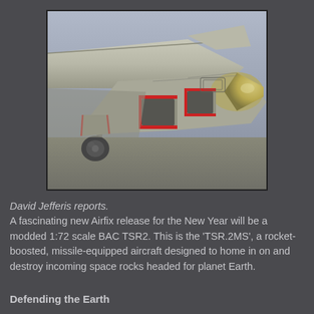[Figure (photo): Close-up photograph of a scale model aircraft (BAC TSR2), showing the underside with landing gear, red-trimmed air intakes, and engine intake cone. The model is silver/grey with red accent markings.]
David Jefferis reports.
A fascinating new Airfix release for the New Year will be a modded 1:72 scale BAC TSR2. This is the 'TSR.2MS', a rocket-boosted, missile-equipped aircraft designed to home in on and destroy incoming space rocks headed for planet Earth.
Defending the Earth